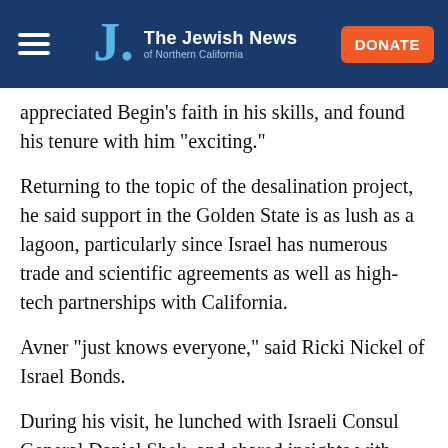The Jewish News of Northern California
appreciated Begin's faith in his skills, and found his tenure with him "exciting."
Returning to the topic of the desalination project, he said support in the Golden State is as lush as a lagoon, particularly since Israel has numerous trade and scientific agreements as well as high-tech partnerships with California.
Avner "just knows everyone," said Ricki Nickel of Israel Bonds.
During his visit, he lunched with Israeli Consul General Daniel Shek, and shared insights with p50Rabbi Brian Lurie, president of the Jewish